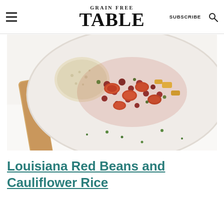GRAIN FREE TABLE | SUBSCRIBE
[Figure (photo): Overhead view of a white pan containing red beans, sliced sausage, cauliflower rice, and colorful vegetables, with a wooden spoon handle visible, and scattered herbs on a white surface]
Louisiana Red Beans and Cauliflower Rice